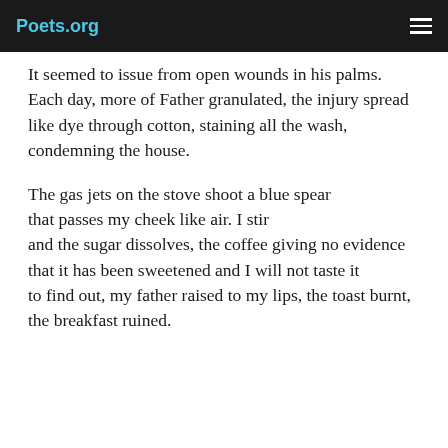Poets.org
It seemed to issue from open wounds in his palms.
Each day, more of Father granulated, the injury spread
like dye through cotton, staining all the wash,
condemning the house.

The gas jets on the stove shoot a blue spear
that passes my cheek like air. I stir
and the sugar dissolves, the coffee giving no evidence
that it has been sweetened and I will not taste it
to find out, my father raised to my lips, the toast burnt,
the breakfast ruined.